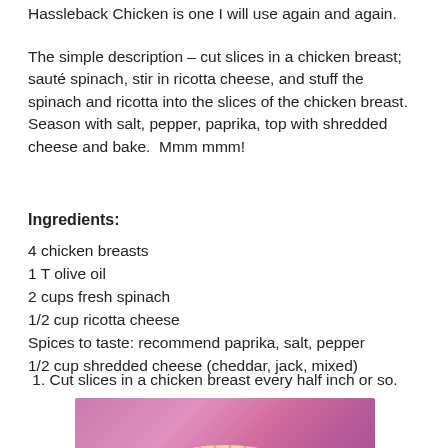Hassleback Chicken is one I will use again and again.
The simple description – cut slices in a chicken breast; sauté spinach, stir in ricotta cheese, and stuff the spinach and ricotta into the slices of the chicken breast.  Season with salt, pepper, paprika, top with shredded cheese and bake.  Mmm mmm!
Ingredients:
4 chicken breasts
1 T olive oil
2 cups fresh spinach
1/2 cup ricotta cheese
Spices to taste: recommend paprika, salt, pepper
1/2 cup shredded cheese (cheddar, jack, mixed)
1. Cut slices in a chicken breast every half inch or so.
[Figure (photo): Photo of a raw chicken breast being sliced hassleback style, held up against a pink/purple background]